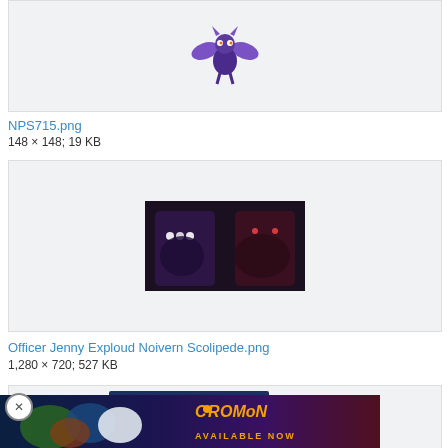[Figure (photo): Partial view of a Pokemon character sprite (Noivern, purple bat-like creature) on light gray background, cut off at top]
NPS715.png
148 × 148; 19 KB
[Figure (screenshot): Dark scene showing Officer Jenny with Exploud, Noivern, and Scolipede Pokemon characters in a dark background]
Officer Jenny Exploud Noivern Scolipede.png
1,280 × 720; 527 KB
[Figure (screenshot): Partial view of third image box with Coromon game advertisement banner overlaid showing colorful underwater creatures and 'Coromon Available Now' text]